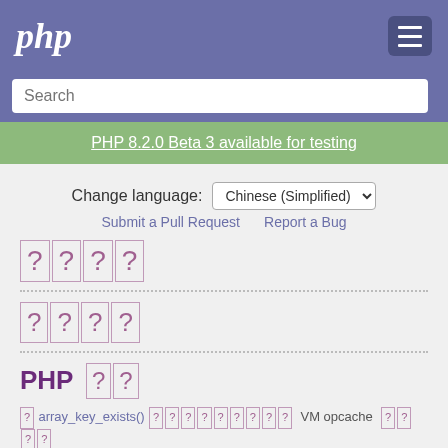php [menu]
Search
PHP 8.2.0 Beta 3 available for testing
Change language: Chinese (Simplified)
Submit a Pull Request   Report a Bug
[Chinese characters - section heading 1]
[Chinese characters - section heading 2]
PHP [Chinese characters]
array_key_exists() [Chinese characters] VM opcache [Chinese characters]